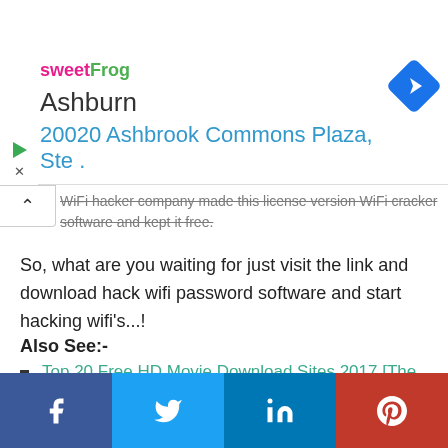[Figure (screenshot): Advertisement banner for sweetFrog showing Ashburn location at 20020 Ashbrook Commons Plaza, Ste. with a navigation arrow icon]
WiFi hacker company made this license version WiFi cracker software and kept it free.
So, what are you waiting for just visit the link and download hack wifi password software and start hacking wifi's...!
Also See:-
Top 20 Free HD Movie Download Sites 2017 [The Ultimate List]
20 Facebook Tricks You Might Want To Try
20 Best launchers for android 2017 You Must Download
[Figure (screenshot): Social media share buttons: Facebook (blue), Twitter (light blue), LinkedIn (blue), Pinterest (red)]